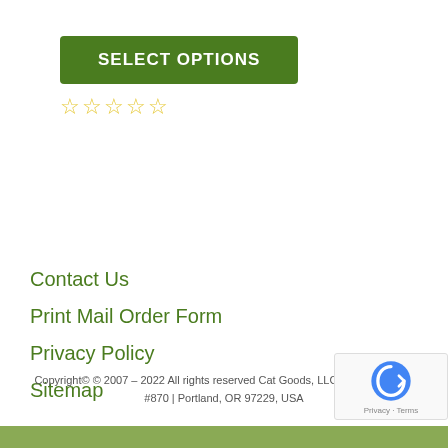SELECT OPTIONS
☆☆☆☆☆
Contact Us
Print Mail Order Form
Privacy Policy
Sitemap
Copyright© © 2007 – 2022 All rights reserved Cat Goods, LLC | 515 NW Saltz #870 | Portland, OR 97229, USA